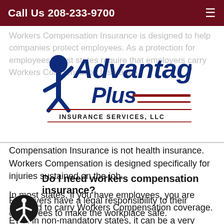Call Us 208-233-9700
[Figure (logo): Advantage Plus Insurance Services LLC logo — italic bold blue text 'Advantage' with 'Plus' below, dark red horizontal lines, and 'INSURANCE SERVICES, LLC' in small caps underneath]
Workers Compensation Insurance is designed to help companies protect employees. As a protection for employees, most states require that employers carry Workers Compensation Insurance. Workers Compensation Insurance is not health insurance. Workers Compensation is designed specifically for injuries sustained on the job.
In most states, if you have employees, you are required to carry Workers Compensation coverage. Even in non-mandatory states, it can be a very good idea, particularly if you have many employees, or if they are engaged in hazardous activities.
Do I need workers compensation insurance?
Employers have a legal responsibility to their employees to make the workplace safe.